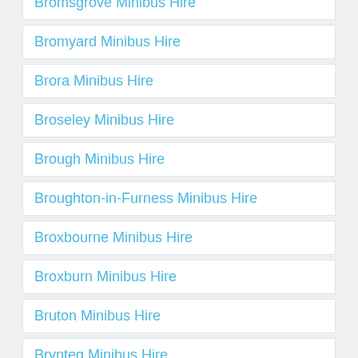Bromsgrove Minibus Hire
Bromyard Minibus Hire
Brora Minibus Hire
Broseley Minibus Hire
Brough Minibus Hire
Broughton-in-Furness Minibus Hire
Broxbourne Minibus Hire
Broxburn Minibus Hire
Bruton Minibus Hire
Brynteg Minibus Hire
Buckfastleigh Minibus Hire
Buckhurst Hill Minibus Hire